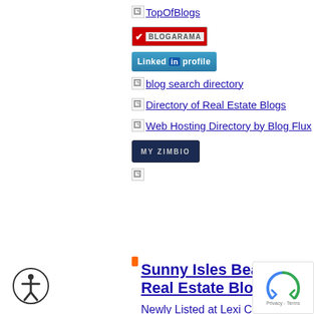[Figure (logo): TopOfBlogs link with broken image placeholder and underlined text]
[Figure (logo): Blogarama badge - red checkmark with BLOGARAMA text]
[Figure (logo): LinkedIn profile badge - blue button with 'Linked in profile']
[Figure (logo): blog search directory link with broken image placeholder]
[Figure (logo): Directory of Real Estate Blogs link with broken image placeholder]
[Figure (logo): Web Hosting Directory by Blog Flux link with broken image placeholder]
[Figure (logo): MY ZIMBIO badge - dark blue button]
[Figure (logo): Broken image placeholder link]
Sunny Isles Beach Real Estate Blog
Newly Listed at Lexi Condos